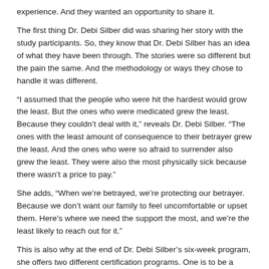experience. And they wanted an opportunity to share it.
The first thing Dr. Debi Silber did was sharing her story with the study participants. So, they know that Dr. Debi Silber has an idea of what they have been through. The stories were so different but the pain the same. And the methodology or ways they chose to handle it was different.
“I assumed that the people who were hit the hardest would grow the least. But the ones who were medicated grew the least. Because they couldn’t deal with it,” reveals Dr. Debi Silber. “The ones with the least amount of consequence to their betrayer grew the least. And the ones who were so afraid to surrender also grew the least. They were also the most physically sick because there wasn’t a price to pay.”
She adds, “When we’re betrayed, we’re protecting our betrayer. Because we don’t want our family to feel uncomfortable or upset them. Here’s where we need the support the most, and we’re the least likely to reach out for it.”
This is also why at the end of Dr. Debi Silber’s six-week program, she offers two different certification programs. One is to be a certified PBT support group host. And the other is a certified PBT practitioner. Dr. Debi Silber says every single woman in the study said she would have benefitted from support.
So, Dr. Debi Silber ended up creating this support group host to benefit women who need support. It is beneficial for the host as well because nothing heals more than when we teach.